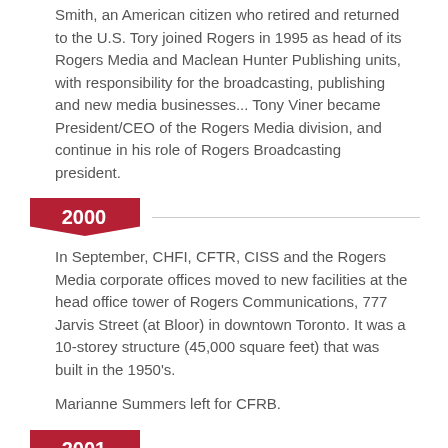Smith, an American citizen who retired and returned to the U.S. Tory joined Rogers in 1995 as head of its Rogers Media and Maclean Hunter Publishing units, with responsibility for the broadcasting, publishing and new media businesses... Tony Viner became President/CEO of the Rogers Media division, and continue in his role of Rogers Broadcasting president.
2000
In September, CHFI, CFTR, CISS and the Rogers Media corporate offices moved to new facilities at the head office tower of Rogers Communications, 777 Jarvis Street (at Bloor) in downtown Toronto. It was a 10-storey structure (45,000 square feet) that was built in the 1950's.
Marianne Summers left for CFRB.
2001
Ted Rogers, 67, announced plans to step down in January of 2004 as president and CEO of Rogers Communications.